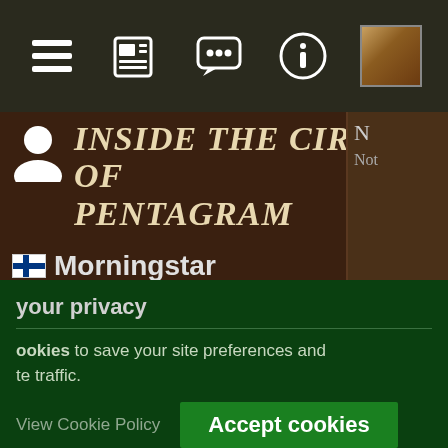[Figure (screenshot): Mobile navigation bar with icons: list/menu, newspaper, chat bubble, info circle, and thumbnail image]
Inside the Circle of Pentagram
Morningstar
Style: Old School Black Metal
Year: 1993
your privacy
ookies to save your site preferences and te traffic.
View Cookie Policy
Accept cookies